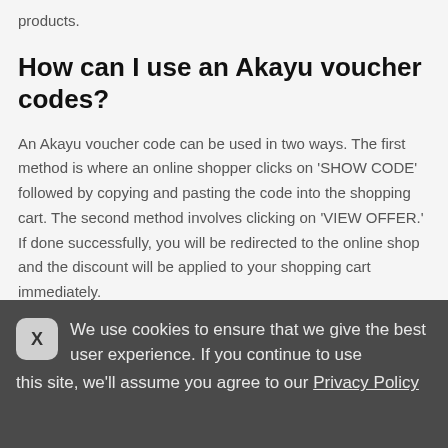products.
How can I use an Akayu voucher codes?
An Akayu voucher code can be used in two ways. The first method is where an online shopper clicks on 'SHOW CODE' followed by copying and pasting the code into the shopping cart. The second method involves clicking on 'VIEW OFFER.' If done successfully, you will be redirected to the online shop and the discount will be applied to your shopping cart immediately.
We use cookies to ensure that we give the best user experience. If you continue to use this site, we'll assume you agree to our Privacy Policy